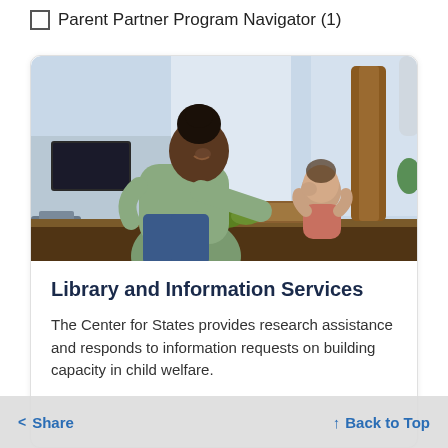☐ Parent Partner Program Navigator (1)
[Figure (photo): A woman in a light green hoodie leaning over a kitchen counter interacting with a toddler, with fruit and cutting board visible on the counter, bright natural light from windows in background.]
Library and Information Services
The Center for States provides research assistance and responds to information requests on building capacity in child welfare.
< Share   ↑ Back to Top